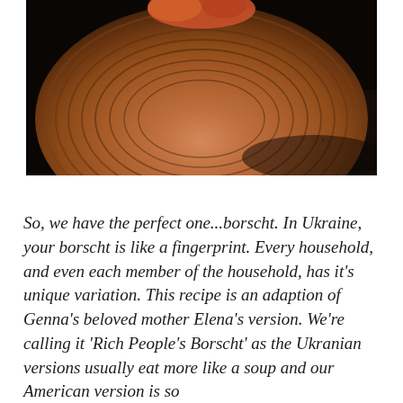[Figure (photo): Close-up photo of a ceramic bowl with concentric ring texture pattern in warm brown/terracotta tones on a dark background, with food visible at top edge]
So, we have the perfect one...borscht. In Ukraine, your borscht is like a fingerprint. Every household, and even each member of the household, has it's unique variation. This recipe is an adaption of Genna's beloved mother Elena's version. We're calling it 'Rich People's Borscht' as the Ukranian versions usually eat more like a soup and our American version is so